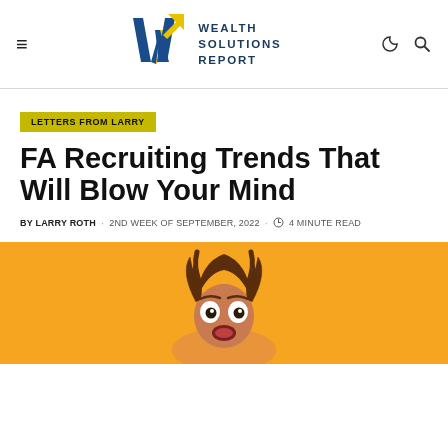WEALTH SOLUTIONS REPORT
LETTERS FROM LARRY
FA Recruiting Trends That Will Blow Your Mind
BY LARRY ROTH · 2ND WEEK OF SEPTEMBER, 2022 · 4 MINUTE READ
[Figure (photo): Person with wide eyes and wild hair, surprised expression, orange background]